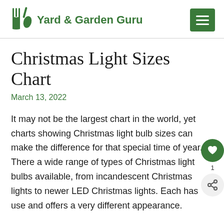Yard & Garden Guru
Christmas Light Sizes Chart
March 13, 2022
It may not be the largest chart in the world, yet charts showing Christmas light bulb sizes can make the difference for that special time of year. There a wide range of types of Christmas light bulbs available, from incandescent Christmas lights to newer LED Christmas lights. Each has use and offers a very different appearance.